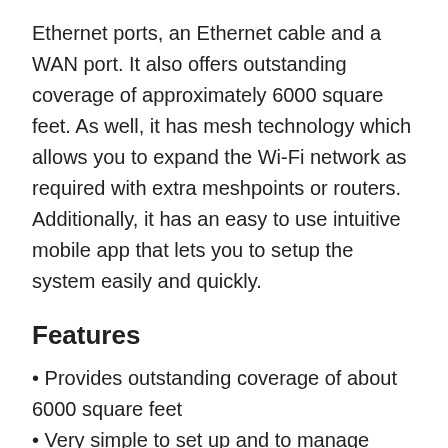Ethernet ports, an Ethernet cable and a WAN port. It also offers outstanding coverage of approximately 6000 square feet. As well, it has mesh technology which allows you to expand the Wi-Fi network as required with extra meshpoints or routers. Additionally, it has an easy to use intuitive mobile app that lets you to setup the system easily and quickly.
Features
Provides outstanding coverage of about 6000 square feet
Very simple to set up and to manage through an intuitive mobile app
Parental controls and remote helps you to protect your children while online